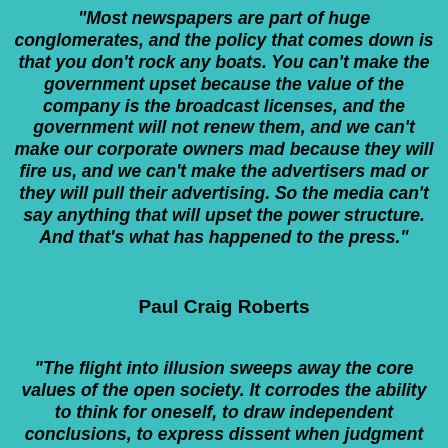"Most newspapers are part of huge conglomerates, and the policy that comes down is that you don't rock any boats. You can't make the government upset because the value of the company is the broadcast licenses, and the government will not renew them, and we can't make our corporate owners mad because they will fire us, and we can't make the advertisers mad or they will pull their advertising. So the media can't say anything that will upset the power structure. And that's what has happened to the press."
Paul Craig Roberts
"The flight into illusion sweeps away the core values of the open society. It corrodes the ability to think for oneself, to draw independent conclusions, to express dissent when judgment and common sense tell you something is wrong, to be self-critical, to challenge authority, to grasp historical facts, to advocate for change, and to acknowledge that there are other views, different ways, and structures of being that are morally and socially acceptable. A populace deprived of the